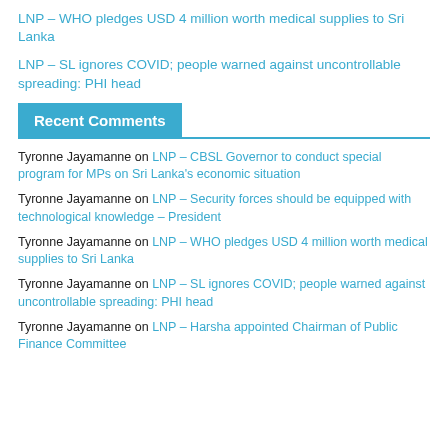LNP – WHO pledges USD 4 million worth medical supplies to Sri Lanka
LNP – SL ignores COVID; people warned against uncontrollable spreading: PHI head
Recent Comments
Tyronne Jayamanne on LNP – CBSL Governor to conduct special program for MPs on Sri Lanka's economic situation
Tyronne Jayamanne on LNP – Security forces should be equipped with technological knowledge – President
Tyronne Jayamanne on LNP – WHO pledges USD 4 million worth medical supplies to Sri Lanka
Tyronne Jayamanne on LNP – SL ignores COVID; people warned against uncontrollable spreading: PHI head
Tyronne Jayamanne on LNP – Harsha appointed Chairman of Public Finance Committee